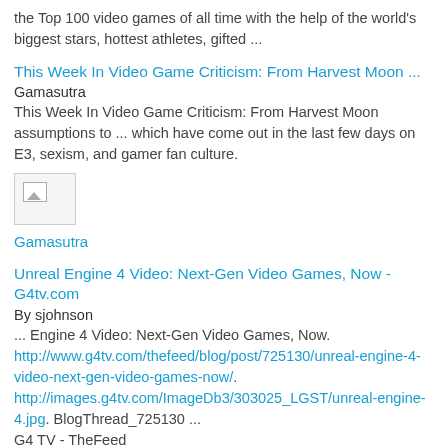the Top 100 video games of all time with the help of the world's biggest stars, hottest athletes, gifted ...
This Week In Video Game Criticism: From Harvest Moon ...
Gamasutra
This Week In Video Game Criticism: From Harvest Moon assumptions to ... which have come out in the last few days on E3, sexism, and gamer fan culture.
[Figure (photo): Broken image thumbnail]
Gamasutra
Unreal Engine 4 Video: Next-Gen Video Games, Now - G4tv.com
By sjohnson
... Engine 4 Video: Next-Gen Video Games, Now. http://www.g4tv.com/thefeed/blog/post/725130/unreal-engine-4-video-next-gen-video-games-now/. http://images.g4tv.com/ImageDb3/303025_LGST/unreal-engine-4.jpg. BlogThread_725130 ... G4 TV - TheFeed